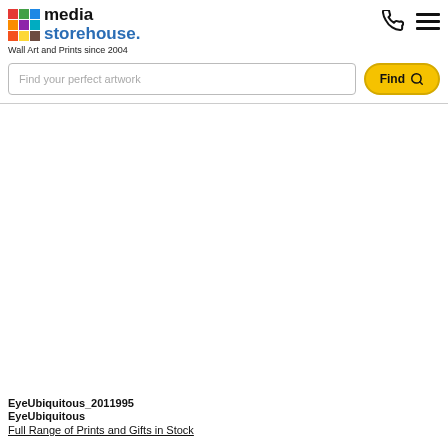media storehouse. Wall Art and Prints since 2004
[Figure (logo): Media Storehouse colorful grid logo with text 'media storehouse.' and tagline 'Wall Art and Prints since 2004']
[Figure (screenshot): Search bar with placeholder 'Find your perfect artwork' and yellow Find button with magnifying glass icon]
[Figure (photo): Large blank white image area for product artwork preview]
EyeUbiquitous_2011995
EyeUbiquitous
Full Range of Prints and Gifts in Stock